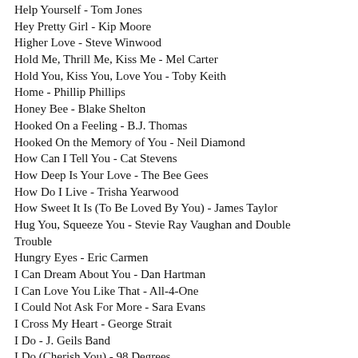Help Yourself  -  Tom Jones
Hey Pretty Girl  -  Kip Moore
Higher Love  -  Steve Winwood
Hold Me, Thrill Me, Kiss Me  -  Mel Carter
Hold You, Kiss You, Love You  -  Toby Keith
Home  -  Phillip Phillips
Honey Bee  -  Blake Shelton
Hooked On a Feeling  -  B.J. Thomas
Hooked On the Memory of You  -  Neil Diamond
How Can I Tell You  -  Cat Stevens
How Deep Is Your Love  -  The Bee Gees
How Do I Live  -  Trisha Yearwood
How Sweet It Is (To Be Loved By You)  -  James Taylor
Hug You, Squeeze You  -  Stevie Ray Vaughan and Double Trouble
Hungry Eyes  -  Eric Carmen
I Can Dream About You  -  Dan Hartman
I Can Love You Like That  -  All-4-One
I Could Not Ask For More  -  Sara Evans
I Cross My Heart  -  George Strait
I Do  -  J. Geils Band
I Do (Cherish You)  -  98 Degrees
I Do (Cherish You)  -  Mark Wills
I Don't Want This Night To End  -  Luke Bryan